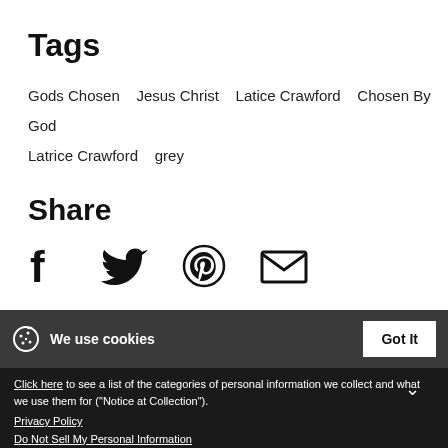Tags
Gods Chosen  Jesus Christ  Latice Crawford  Chosen By God  Latrice Crawford  grey
Share
[Figure (infographic): Social share icons: Facebook, Twitter, Pinterest, Email]
We use cookies  Got It
Click here to see a list of the categories of personal information we collect and what we use them for ("Notice at Collection").
Privacy Policy
Do Not Sell My Personal Information
By using this website, I agree to the Terms and Conditions